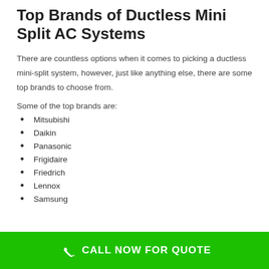Top Brands of Ductless Mini Split AC Systems
There are countless options when it comes to picking a ductless mini-split system, however, just like anything else, there are some top brands to choose from.
Some of the top brands are:
Mitsubishi
Daikin
Panasonic
Frigidaire
Friedrich
Lennox
Samsung
CALL NOW FOR QUOTE